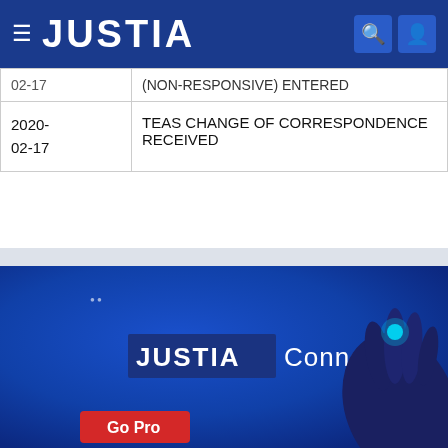JUSTIA
| Date | Description |
| --- | --- |
| 02-17 | (NON-RESPONSIVE) ENTERED |
| 2020-02-17 | TEAS CHANGE OF CORRESPONDENCE RECEIVED |
[Figure (screenshot): Justia Connect promotional banner with blue background, JUSTIA Connect logo with a glowing hand touching element, and Go Pro button in red]